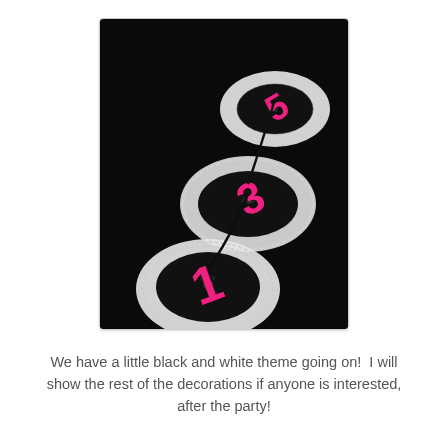[Figure (photo): A close-up photograph of party table number decorations: pink cut-out numbers on black and white damask paper, placed on white lacy doilies, against a dark background.]
We have a little black and white theme going on!  I will show the rest of the decorations if anyone is interested, after the party!